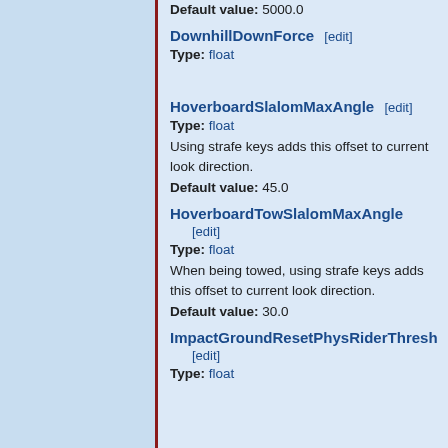Default value: 5000.0
DownhillDownForce [edit]
Type: float
HoverboardSlalomMaxAngle [edit]
Type: float
Using strafe keys adds this offset to current look direction.
Default value: 45.0
HoverboardTowSlalomMaxAngle [edit]
Type: float
When being towed, using strafe keys adds this offset to current look direction.
Default value: 30.0
ImpactGroundResetPhysRiderThresh [edit]
Type: float